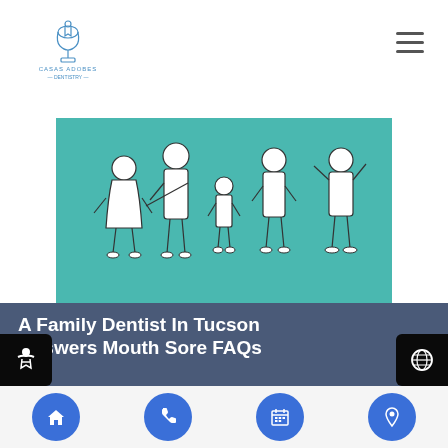Casas Adobes Dentistry
[Figure (illustration): Illustration of a family (adults and children) on a teal/turquoise background, drawn in outline style]
A Family Dentist In Tucson Answers Mouth Sore FAQs
Your family dentist deals with issues related to mouth sores on a regular basis. Dentists can answer various questions and help mouths heal. Read on to find out what your local dentist has to say about mouth sores.People suffer from a variety of mouth sores. Identification of the sore is the first step in treatment.Canker...
Home | Phone | Calendar | Location icons